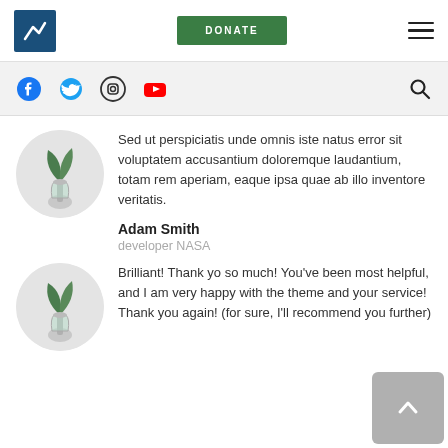Navigation bar with logo, DONATE button, and hamburger menu
Social media icons bar: Facebook, Twitter, Instagram, YouTube, Search
Sed ut perspiciatis unde omnis iste natus error sit voluptatem accusantium doloremque laudantium, totam rem aperiam, eaque ipsa quae ab illo inventore veritatis.
Adam Smith
developer NASA
Brilliant! Thank yo so much! You've been most helpful, and I am very happy with the theme and your service! Thank you again! (for sure, I'll recommend you further)